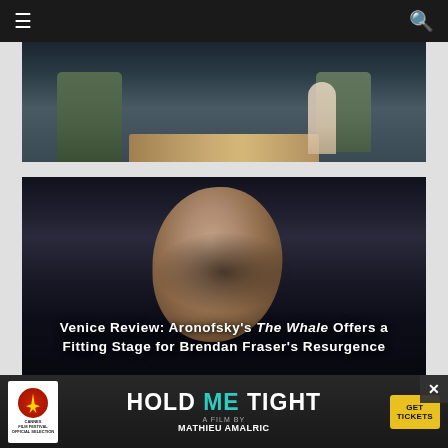≡  🔍
[Figure (photo): A dimly lit scene showing ornate green chairs and a decorative table, with a figure in a light-colored dress seated in the background]
[Figure (photo): Close-up portrait of Brendan Fraser in The Whale, a man with large facial features, bald head, in dark tones]
Venice Review: Aronofsky's The Whale Offers a Fitting Stage for Brendan Fraser's Resurgence
[Figure (photo): Advertisement banner for 'Hold Me Tight' film by Mathieu Amalric, a Cannes Film Festival Official Selection, with Get Tickets call to action]